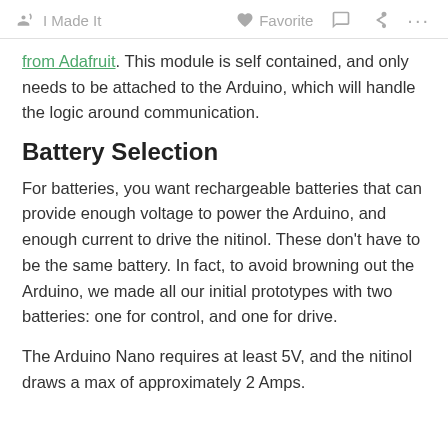I Made It   Favorite   ...
from Adafruit. This module is self contained, and only needs to be attached to the Arduino, which will handle the logic around communication.
Battery Selection
For batteries, you want rechargeable batteries that can provide enough voltage to power the Arduino, and enough current to drive the nitinol. These don't have to be the same battery. In fact, to avoid browning out the Arduino, we made all our initial prototypes with two batteries: one for control, and one for drive.
The Arduino Nano requires at least 5V, and the nitinol draws a max of approximately 2 Amps.